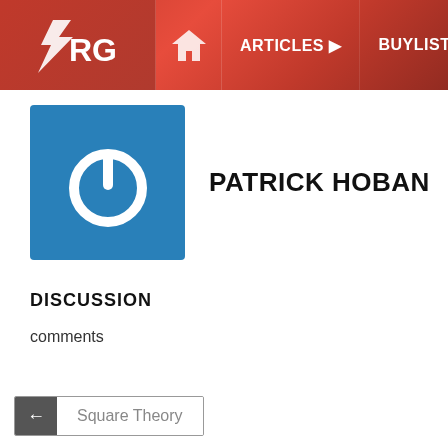ARG ARTICLES BUYLIST FIND CARDS EVEN
PATRICK HOBAN
[Figure (logo): Blue square avatar with white power button icon]
DISCUSSION
comments
← Square Theory
Sponsored
[Figure (photo): A light bulb being held up, and a tree with bare branches on right side]